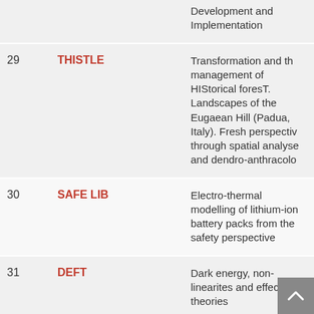| # | Code | Description |
| --- | --- | --- |
|  |  | Development and Implementation |
| 29 | THISTLE | Transformation and the management of HIStorical foresT. Landscapes of the Eugaean Hill (Padua, Italy). Fresh perspectives through spatial analyses and dendro-anthracology |
| 30 | SAFE LIB | Electro-thermal modelling of lithium-ion battery packs from the safety perspective |
| 31 | DEFT | Dark energy, non-linearites and effective theories |
| 32 | MEROXRE | Understanding the fat... |